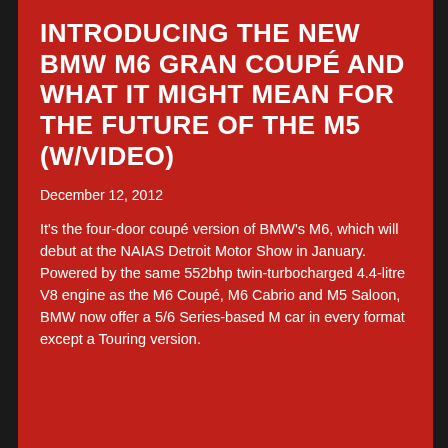INTRODUCING THE NEW BMW M6 GRAN COUPÉ AND WHAT IT MIGHT MEAN FOR THE FUTURE OF THE M5 (W/VIDEO)
December 12, 2012
It's the four-door coupé version of BMW's M6, which will debut at the NAIAS Detroit Motor Show in January. Powered by the same 552bhp twin-turbocharged 4.4-litre V8 engine as the M6 Coupé, M6 Cabrio and M5 Saloon, BMW now offer a 5/6 Series-based M car in every format except a Touring version.
We use cookies to provide you with the best experience of our website. We may also share information about your use of our site with our social media, advertising and analytics partners. If you continue to use this site we will assume you are happy with this.